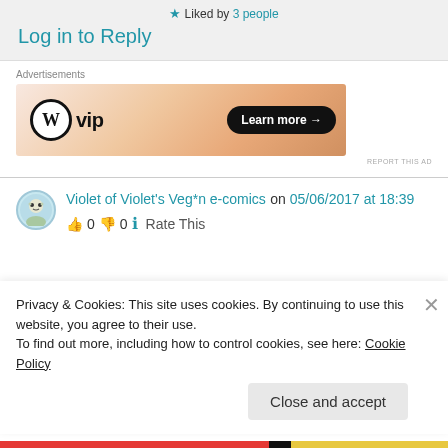★ Liked by 3 people
Log in to Reply
Advertisements
[Figure (other): WordPress VIP advertisement banner with 'Learn more →' button on orange gradient background]
Violet of Violet's Veg*n e-comics on 05/06/2017 at 18:39
👍 0 👎 0 ℹ Rate This
Privacy & Cookies: This site uses cookies. By continuing to use this website, you agree to their use.
To find out more, including how to control cookies, see here: Cookie Policy
Close and accept